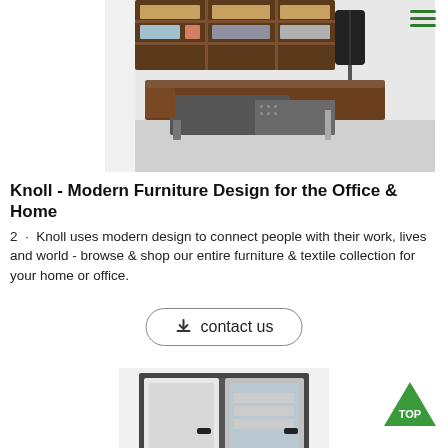[Figure (photo): Photo of a modern L-shaped executive office desk with dark walnut top and grey steel base, with shelving unit behind it, shown in a bright office setting.]
Knoll - Modern Furniture Design for the Office & Home
2  ·  Knoll uses modern design to connect people with their work, lives and world - browse & shop our entire furniture & textile collection for your home or office.
[Figure (other): Contact us button with download icon, rounded rectangle border]
[Figure (photo): Photo of a tall metal office storage cabinet with two white doors on left, one grey door with glass panel on right, showing internal shelves with items, dark grey frame.]
[Figure (other): Green triangle TOP button at bottom right corner]